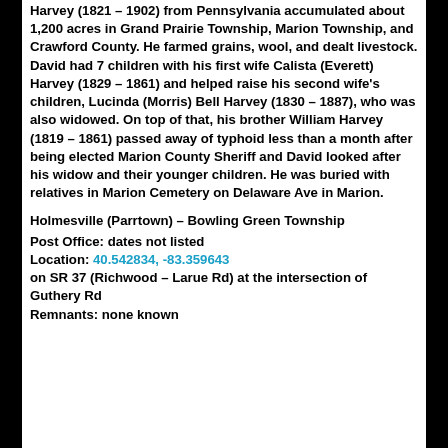Harvey (1821 – 1902) from Pennsylvania accumulated about 1,200 acres in Grand Prairie Township, Marion Township, and Crawford County. He farmed grains, wool, and dealt livestock. David had 7 children with his first wife Calista (Everett) Harvey (1829 – 1861) and helped raise his second wife's children, Lucinda (Morris) Bell Harvey (1830 – 1887), who was also widowed. On top of that, his brother William Harvey (1819 – 1861) passed away of typhoid less than a month after being elected Marion County Sheriff and David looked after his widow and their younger children. He was buried with relatives in Marion Cemetery on Delaware Ave in Marion.
Holmesville (Parrtown) – Bowling Green Township
Post Office: dates not listed
Location: 40.542834, -83.359643
on SR 37 (Richwood – Larue Rd) at the intersection of Guthery Rd
Remnants: none known